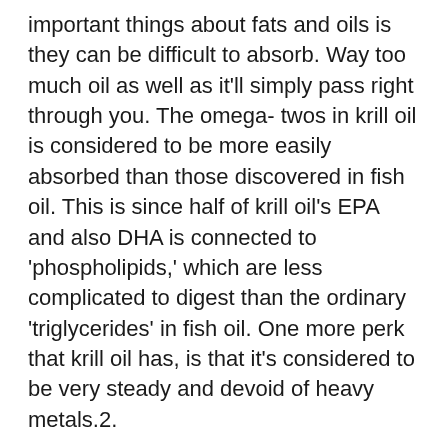important things about fats and oils is they can be difficult to absorb. Way too much oil as well as it'll simply pass right through you. The omega- twos in krill oil is considered to be more easily absorbed than those discovered in fish oil. This is since half of krill oil's EPA and also DHA is connected to 'phospholipids,' which are less complicated to digest than the ordinary 'triglycerides' in fish oil. One more perk that krill oil has, is that it's considered to be very steady and devoid of heavy metals.2.
I think many individuals who don't obtain several omega-3's in their diet plan could gain from krill oil supplements. Omega-3's are thought to sustain heart health, skin wellness, joint health, and also mind health.